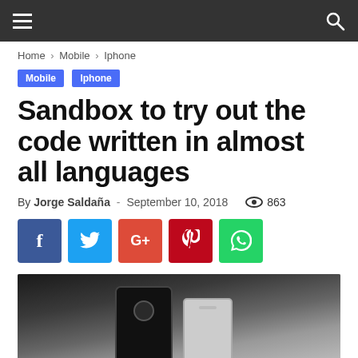Navigation bar with hamburger menu and search icon
Home › Mobile › Iphone
Mobile  Iphone
Sandbox to try out the code written in almost all languages
By Jorge Saldaña - September 10, 2018  863
[Figure (other): Social sharing buttons: Facebook, Twitter, Google+, Pinterest, WhatsApp]
[Figure (photo): Black and white photo of two iPhones side by side, showing back of devices with Apple logo]